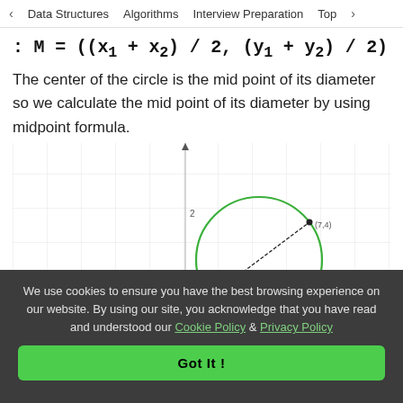< Data Structures   Algorithms   Interview Preparation   Top>
The center of the circle is the mid point of its diameter so we calculate the mid point of its diameter by using midpoint formula.
[Figure (engineering-diagram): Coordinate grid showing a green circle with a diameter line drawn between points (7,4) and (3,1), with a midpoint marked. The y-axis is vertical and x-axis is horizontal. The circle is centered roughly at (5, 2.5).]
We use cookies to ensure you have the best browsing experience on our website. By using our site, you acknowledge that you have read and understood our Cookie Policy & Privacy Policy
Got It !